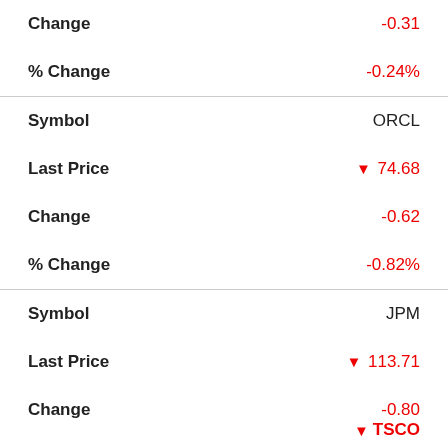| Field | Value |
| --- | --- |
| Change | -0.31 |
| % Change | -0.24% |
| Symbol | ORCL |
| Last Price | ▼ 74.68 |
| Change | -0.62 |
| % Change | -0.82% |
| Symbol | JPM |
| Last Price | ▼ 113.71 |
| Change | -0.80 |
▼ TSCO